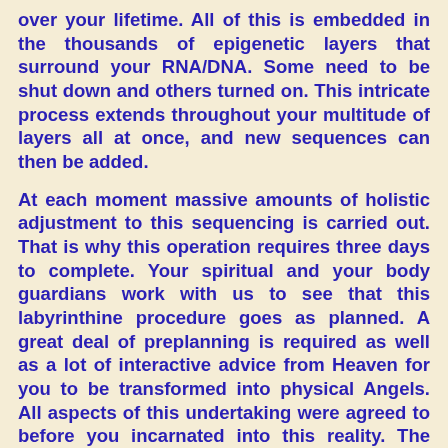over your lifetime. All of this is embedded in the thousands of epigenetic layers that surround your RNA/DNA. Some need to be shut down and others turned on. This intricate process extends throughout your multitude of layers all at once, and new sequences can then be added.
At each moment massive amounts of holistic adjustment to this sequencing is carried out. That is why this operation requires three days to complete. Your spiritual and your body guardians work with us to see that this labyrinthine procedure goes as planned. A great deal of preplanning is required as well as a lot of interactive advice from Heaven for you to be transformed into physical Angels. All aspects of this undertaking were agreed to before you incarnated into this reality. The only question at that time was the precise details of how this return to full